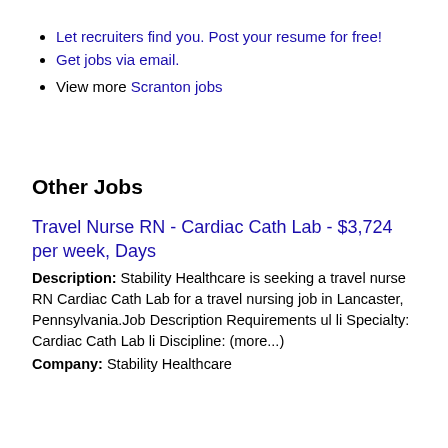Let recruiters find you. Post your resume for free!
Get jobs via email.
View more Scranton jobs
Other Jobs
Travel Nurse RN - Cardiac Cath Lab - $3,724 per week, Days
Description: Stability Healthcare is seeking a travel nurse RN Cardiac Cath Lab for a travel nursing job in Lancaster, Pennsylvania.Job Description Requirements ul li Specialty: Cardiac Cath Lab li Discipline: (more...)
Company: Stability Healthcare